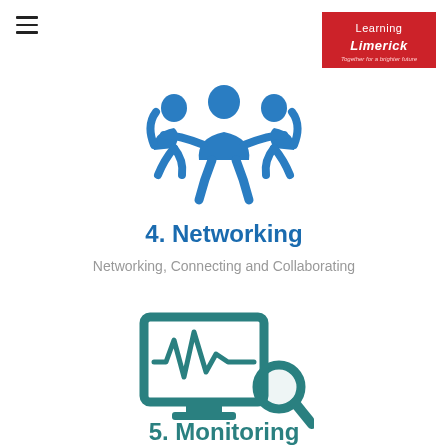Learning Limerick — Together for a brighter future
[Figure (illustration): Blue icon of three people figures connected, arms raised, representing networking/collaboration]
4. Networking
Networking, Connecting and Collaborating
[Figure (illustration): Teal/green icon of a computer monitor showing a waveform with a magnifying glass, representing monitoring]
5. Monitoring